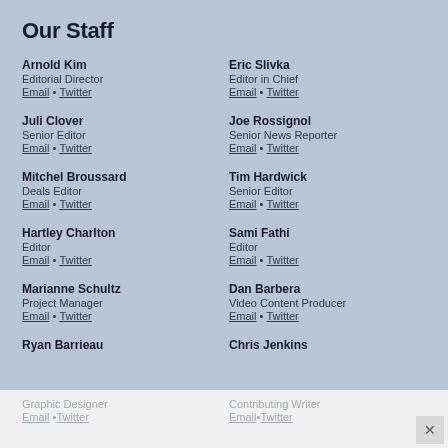Our Staff
Arnold Kim
Editorial Director
Email • Twitter
Eric Slivka
Editor in Chief
Email • Twitter
Juli Clover
Senior Editor
Email • Twitter
Joe Rossignol
Senior News Reporter
Email • Twitter
Mitchel Broussard
Deals Editor
Email • Twitter
Tim Hardwick
Senior Editor
Email • Twitter
Hartley Charlton
Editor
Email • Twitter
Sami Fathi
Editor
Email • Twitter
Marianne Schultz
Project Manager
Email • Twitter
Dan Barbera
Video Content Producer
Email • Twitter
Ryan Barrieau
Graphic Designer
Email • Twitter
Chris Jenkins
Contributing Writer
Email • Twitter